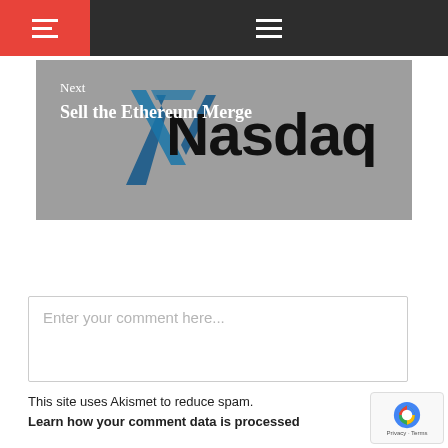Navigation bar with hamburger menus
[Figure (logo): Nasdaq logo overlaid on gray banner with Next post navigation]
Next
Sell the Ethereum Merge
Enter your comment here...
This site uses Akismet to reduce spam. Learn how your comment data is processed